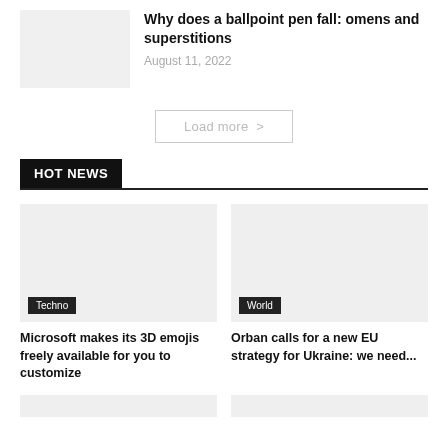[Figure (photo): Small thumbnail placeholder image, light gray]
Why does a ballpoint pen fall: omens and superstitions
August 11, 2022
Load more >
HOT NEWS
[Figure (photo): Large placeholder image with Techno tag, light gray]
Microsoft makes its 3D emojis freely available for you to customize
[Figure (photo): Large placeholder image with World tag, light gray]
Orban calls for a new EU strategy for Ukraine: we need...
[Figure (photo): Bottom partial placeholder image left, light gray]
[Figure (photo): Bottom partial placeholder image right, light gray]